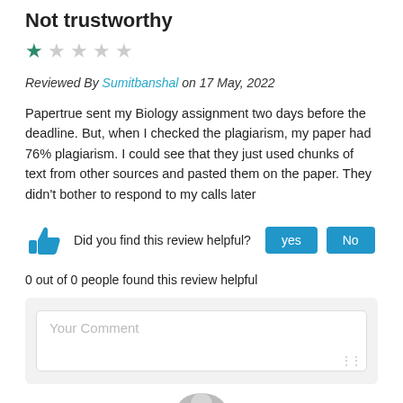Not trustworthy
[Figure (other): Star rating: 1 out of 5 stars (one filled green star, four empty gray stars)]
Reviewed By Sumitbanshal on 17 May, 2022
Papertrue sent my Biology assignment two days before the deadline. But, when I checked the plagiarism, my paper had 76% plagiarism. I could see that they just used chunks of text from other sources and pasted them on the paper. They didn't bother to respond to my calls later
Did you find this review helpful? yes No
0 out of 0 people found this review helpful
Your Comment